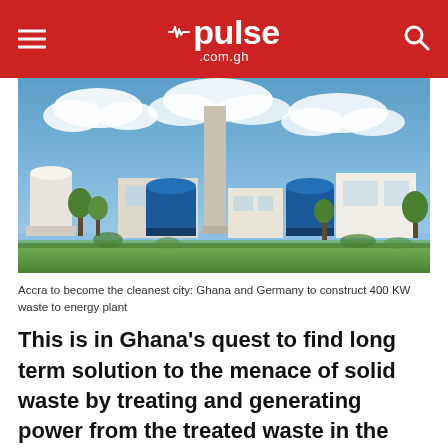pulse.com.gh
[Figure (photo): Industrial waste-to-energy plant with tall chimney, blue cylindrical tanks, white buildings, green trees, and blue sky with clouds]
Accra to become the cleanest city: Ghana and Germany to construct 400 KW waste to energy plant
This is in Ghana's quest to find long term solution to the menace of solid waste by treating and generating power from the treated waste in the country.